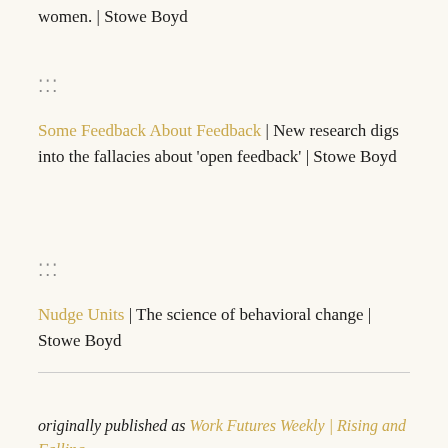women. | Stowe Boyd
:::
Some Feedback About Feedback | New research digs into the fallacies about ‘open feedback’ | Stowe Boyd
:::
Nudge Units | The science of behavioral change | Stowe Boyd
originally published as Work Futures Weekly | Rising and Falling